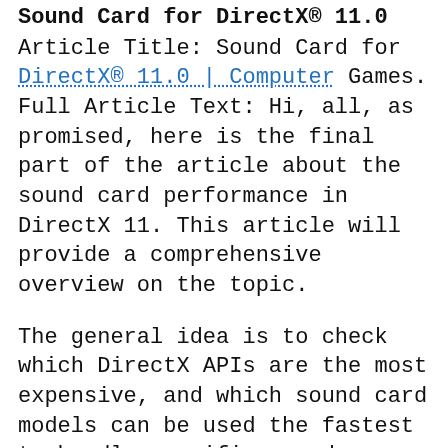Sound Card for DirectX® 11.0
Article Title: Sound Card for DirectX® 11.0 | Computer Games. Full Article Text: Hi, all, as promised, here is the final part of the article about the sound card performance in DirectX 11. This article will provide a comprehensive overview on the topic.
The general idea is to check which DirectX APIs are the most expensive, and which sound card models can be used the fastest to handle specific sound scenarios. The idea is not to compare various DirectX 11 sound cards, but to use AMD's audio drivers to make a sound card comparison for each DirectX 11 sound card. After all